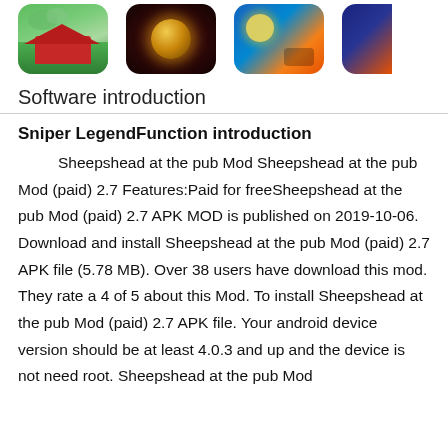[Figure (illustration): Three app icons partially visible at the top: a farm/village game icon with green background and red barn, a dark circular icon with golden glow, and a colorful game icon. A fourth icon is partially cut off on the right.]
Software introduction
Sniper LegendFunction introduction
Sheepshead at the pub Mod Sheepshead at the pub Mod (paid) 2.7 Features:Paid for freeSheepshead at the pub Mod (paid) 2.7 APK MOD is published on 2019-10-06. Download and install Sheepshead at the pub Mod (paid) 2.7 APK file (5.78 MB). Over 38 users have download this mod. They rate a 4 of 5 about this Mod. To install Sheepshead at the pub Mod (paid) 2.7 APK file. Your android device version should be at least 4.0.3 and up and the device is not need root. Sheepshead at the pub Mod